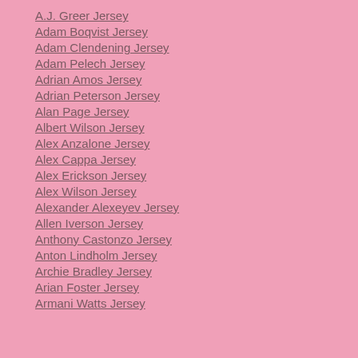A.J. Greer Jersey
Adam Boqvist Jersey
Adam Clendening Jersey
Adam Pelech Jersey
Adrian Amos Jersey
Adrian Peterson Jersey
Alan Page Jersey
Albert Wilson Jersey
Alex Anzalone Jersey
Alex Cappa Jersey
Alex Erickson Jersey
Alex Wilson Jersey
Alexander Alexeyev Jersey
Allen Iverson Jersey
Anthony Castonzo Jersey
Anton Lindholm Jersey
Archie Bradley Jersey
Arian Foster Jersey
Armani Watts Jersey